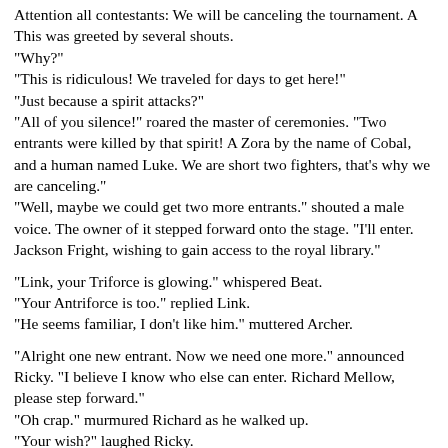Attention all contestants: We will be canceling the tournament. A This was greeted by several shouts.
"Why?"
"This is ridiculous! We traveled for days to get here!"
"Just because a spirit attacks?"
"All of you silence!" roared the master of ceremonies. "Two entrants were killed by that spirit! A Zora by the name of Cobal, and a human named Luke. We are short two fighters, that's why we are canceling."
"Well, maybe we could get two more entrants." shouted a male voice. The owner of it stepped forward onto the stage. "I'll enter. Jackson Fright, wishing to gain access to the royal library."

"Link, your Triforce is glowing." whispered Beat.
"Your Antriforce is too." replied Link.
"He seems familiar, I don't like him." muttered Archer.

"Alright one new entrant. Now we need one more." announced Ricky. "I believe I know who else can enter. Richard Mellow, please step forward."
"Oh crap." murmured Richard as he walked up.
"Your wish?" laughed Ricky.
"I wish to marry Maribelle Willow, a royal maid." he replied boldly.
"Alright new contestants. I wish you all stay safe. We may not be under the attack of just one person. Please enjoy your lunch."